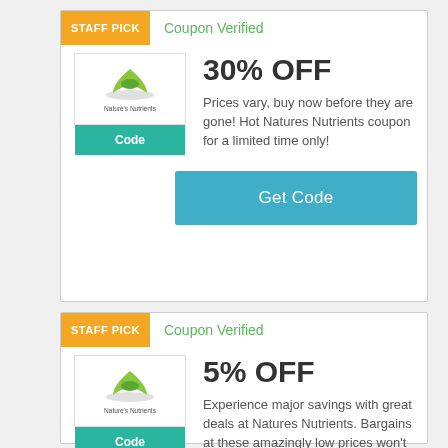STAFF PICK
Coupon Verified
30% OFF
Prices vary, buy now before they are gone! Hot Natures Nutrients coupon for a limited time only!
Code
Get Code
STAFF PICK
Coupon Verified
5% OFF
Experience major savings with great deals at Natures Nutrients. Bargains at these amazingly low prices won't
Code